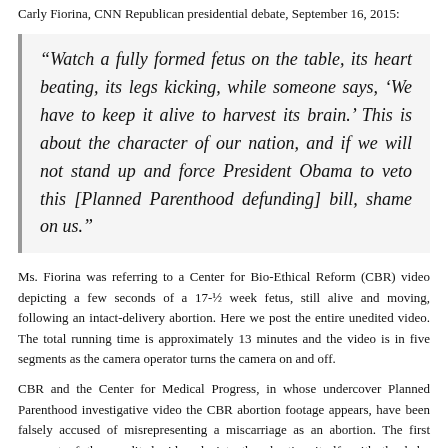Carly Fiorina, CNN Republican presidential debate, September 16, 2015:
“Watch a fully formed fetus on the table, its heart beating, its legs kicking, while someone says, ‘We have to keep it alive to harvest its brain.’ This is about the character of our nation, and if we will not stand up and force President Obama to veto this [Planned Parenthood defunding] bill, shame on us.”
Ms. Fiorina was referring to a Center for Bio-Ethical Reform (CBR) video depicting a few seconds of a 17-½ week fetus, still alive and moving, following an intact-delivery abortion. Here we post the entire unedited video. The total running time is approximately 13 minutes and the video is in five segments as the camera operator turns the camera on and off.
CBR and the Center for Medical Progress, in whose undercover Planned Parenthood investigative video the CBR abortion footage appears, have been falsely accused of misrepresenting a miscarriage as an abortion. The first segment of the unedited video depicts the abortion itself, with the baby delivered alive and struggling in the